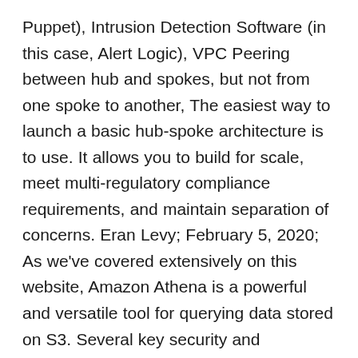Puppet), Intrusion Detection Software (in this case, Alert Logic), VPC Peering between hub and spokes, but not from one spoke to another, The easiest way to launch a basic hub-spoke architecture is to use. It allows you to build for scale, meet multi-regulatory compliance requirements, and maintain separation of concerns. Eran Levy; February 5, 2020; As we've covered extensively on this website, Amazon Athena is a powerful and versatile tool for querying data stored on S3. Several key security and management features (intrusion detection, logging, bastion hosts, and centralized authentication) should be present in each Virtual Private Cloud (VPC). This decision can impact the Communications layer, since the type of credential ... You can build a basic streaming analytics pipeline using Amazon Kinesis Firehose, which is a fully managed service for ingesting events and loading them onto S3. AWS Documentation Amazon ECS Developer Guide. AWS Template of 3-Tier Auto-scalable Web